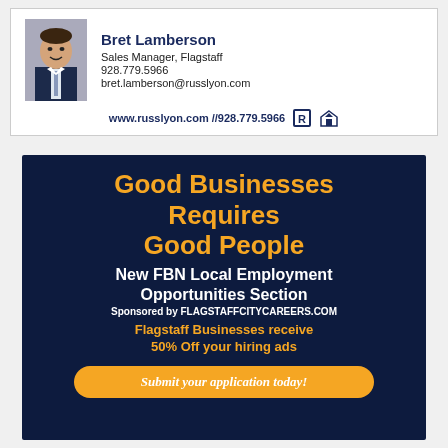[Figure (photo): Headshot of Bret Lamberson, a man in a suit]
Bret Lamberson
Sales Manager, Flagstaff
928.779.5966
bret.lamberson@russlyon.com
www.russlyon.com //928.779.5966
[Figure (infographic): Dark navy advertisement for FBN Local Employment Opportunities Section sponsored by FLAGSTAFFCITYCAREERS.COM. Headline: Good Businesses Requires Good People. Subhead: New FBN Local Employment Opportunities Section. Sponsored by FLAGSTAFFCITYCAREERS.COM. Offer: Flagstaff Businesses receive 50% Off your hiring ads. Button: Submit your application today!]